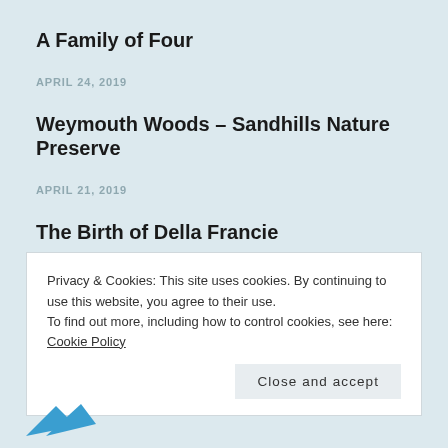A Family of Four
APRIL 24, 2019
Weymouth Woods – Sandhills Nature Preserve
APRIL 21, 2019
The Birth of Della Francie
MARCH 21, 2019
Privacy & Cookies: This site uses cookies. By continuing to use this website, you agree to their use.
To find out more, including how to control cookies, see here: Cookie Policy
Close and accept